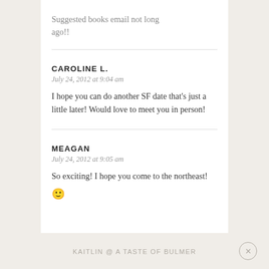Suggested books email not long ago!!
CAROLINE L.
July 24, 2012 at 9:04 am
I hope you can do another SF date that's just a little later! Would love to meet you in person!
MEAGAN
July 24, 2012 at 9:05 am
So exciting! I hope you come to the northeast! 🙂
KAITLIN @ A TASTE OF BULMER